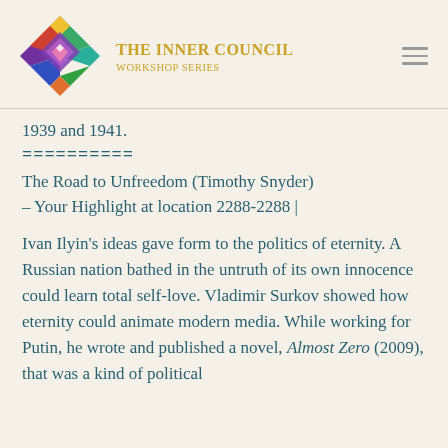[Figure (logo): The Inner Council Workshop Series logo — a colorful diamond/geometric mosaic shape with rainbow colors]
The Inner Council
Workshop Series
1939 and 1941.
==========
The Road to Unfreedom (Timothy Snyder) – Your Highlight at location 2288-2288 |
Ivan Ilyin's ideas gave form to the politics of eternity. A Russian nation bathed in the untruth of its own innocence could learn total self-love. Vladimir Surkov showed how eternity could animate modern media. While working for Putin, he wrote and published a novel, Almost Zero (2009), that was a kind of political